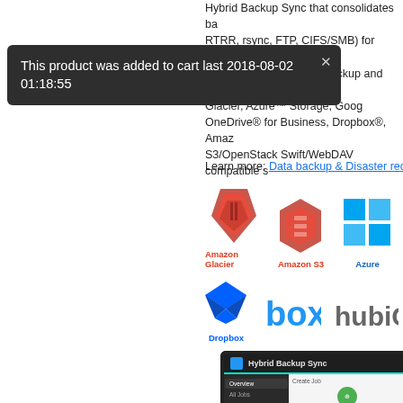Hybrid Backup Sync that consolidates backup (RTRR, rsync, FTP, CIFS/SMB) for easily transferring data as comprehensive data backup and disaster recovery. Glacier, Azure™ Storage, Google OneDrive® for Business, Dropbox®, Amazon S3/OpenStack Swift/WebDAV compatible storage.
This product was added to cart last 2018-08-02 01:18:55
Learn more: Data backup & Disaster recovery
[Figure (screenshot): Cloud storage service logos: Amazon Glacier, Amazon S3, Azure, and others in two rows, followed by a screenshot of the Hybrid Backup Sync application interface]